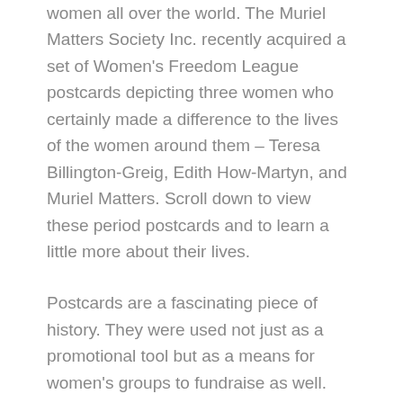women all over the world. The Muriel Matters Society Inc. recently acquired a set of Women's Freedom League postcards depicting three women who certainly made a difference to the lives of the women around them – Teresa Billington-Greig, Edith How-Martyn, and Muriel Matters. Scroll down to view these period postcards and to learn a little more about their lives.
Postcards are a fascinating piece of history. They were used not just as a promotional tool but as a means for women's groups to fundraise as well. These cards were sent from 'Will' to 'Miss A. Lee' in Devon over a century ago, there is even reference to a football match between England and Australia you can read about...
Edith How-Martyn (1875-1954)
How-Martyn was trained at university in physics, maths